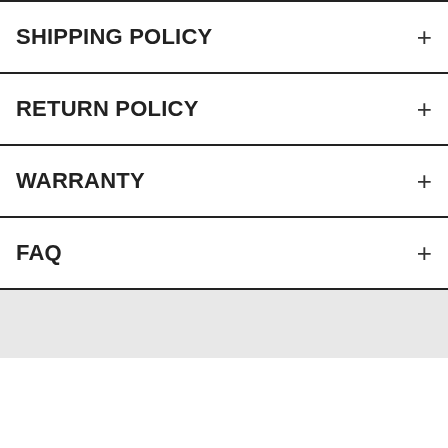SHIPPING POLICY
RETURN POLICY
WARRANTY
FAQ